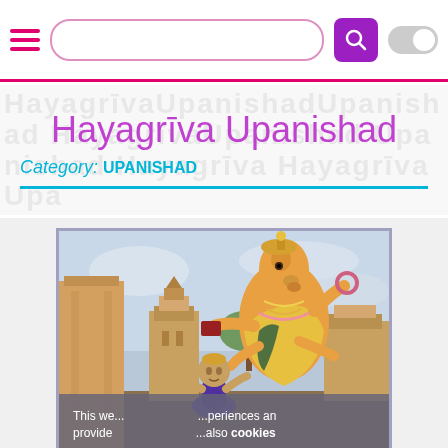[Figure (screenshot): Mobile website navigation bar with hamburger menu icon (three pink/magenta horizontal lines), a search input field with pink border and rounded corners, a purple search button with magnifying glass icon, and a grey toggle switch on the right.]
Hayagrīva Upanishad
Category: UPANISHAD
[Figure (illustration): Hindu religious painting depicting Hayagriva (a deity with a horse head and multiple arms holding a book/chakra) bending towards a devotee seated below, with temple architecture and trees in the background.]
This we... ...periences an provide ...also cookies